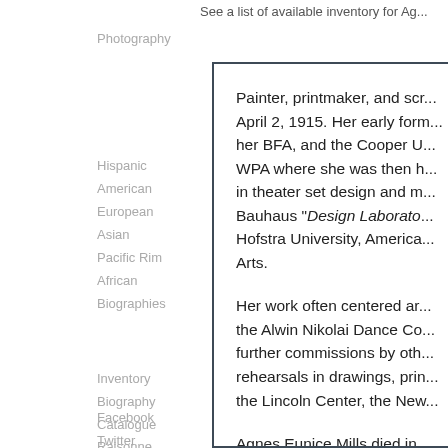Photography
See a list of available inventory for Ag...
Hispanic
American
European
Asian
Pacific Rim
African
Biographies
Inventory
Biography
Catalogue Raisonne
Facebook
Twitter
Painter, printmaker, and sc... April 2, 1915. Her early form... her BFA, and the Cooper U... WPA where she was then h... in theater set design and m... Bauhaus "Design Laborato..." Hofstra University, America... Arts.
Her work often centered ar... the Alwin Nikolai Dance Co... further commissions by oth... rehearsals in drawings, pri... the Lincoln Center, the New...
Agnes Eunice Mills died in...